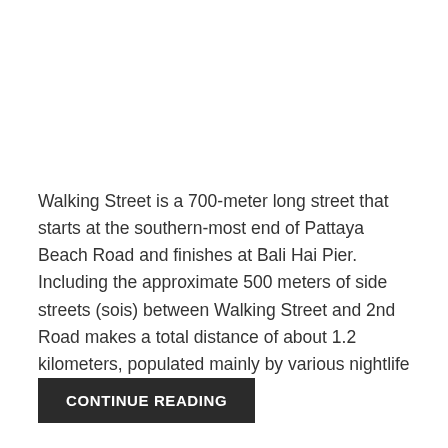Walking Street is a 700-meter long street that starts at the southern-most end of Pattaya Beach Road and finishes at Bali Hai Pier. Including the approximate 500 meters of side streets (sois) between Walking Street and 2nd Road makes a total distance of about 1.2 kilometers, populated mainly by various nightlife venues. Just look for […]
CONTINUE READING